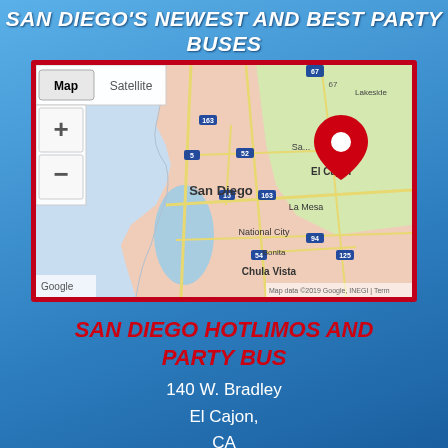SAN DIEGO'S NEWEST AND BEST PARTY BUSES
[Figure (map): Google Map showing San Diego area with a red location pin marker near El Cajon, CA. Map shows cities including San Diego, El Cajon, La Mesa, National City, Bonita, Chula Vista, and Lakeside. Includes Map/Satellite toggle and zoom controls.]
SAN DIEGO HOTLIMOS AND PARTY BUS
140 W. Bradley
El Cajon,
CA
92020
United States
(619) 800-5468 (PSG00303011)